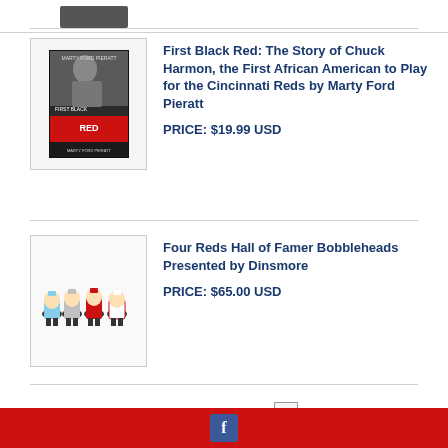[Figure (photo): Book cover thumbnail at top stub area]
First Black Red: The Story of Chuck Harmon, the First African American to Play for the Cincinnati Reds by Marty Ford Pieratt
PRICE: $19.99 USD
[Figure (photo): Four bobblehead figurines of Reds Hall of Famers]
Four Reds Hall of Famer Bobbleheads Presented by Dinsmore
PRICE: $65.00 USD
1  2  3  4  5  ...7  Next